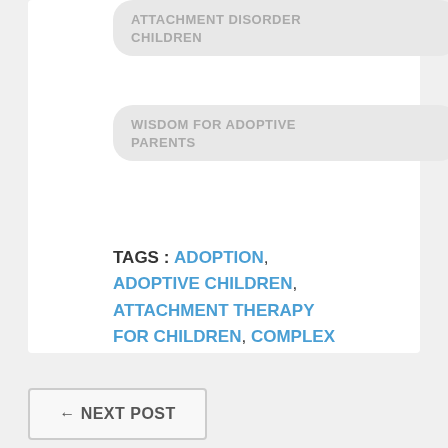ATTACHMENT DISORDER CHILDREN
WISDOM FOR ADOPTIVE PARENTS
TAGS : ADOPTION, ADOPTIVE CHILDREN, ATTACHMENT THERAPY FOR CHILDREN, COMPLEX DEVELOPMENTAL TRAUMA, PARENTING ATTACHMENT CHALLENGED CHILDREN
← NEXT POST